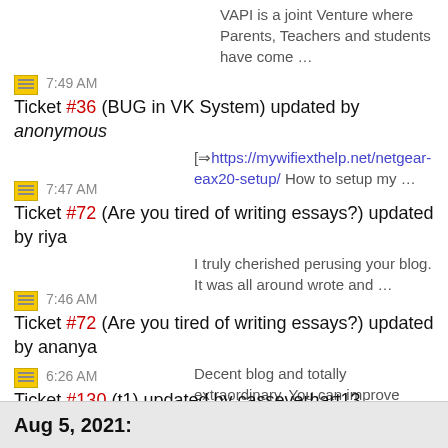VAPI is a joint Venture where Parents, Teachers and students have come …
7:49 AM Ticket #36 (BUG in VK System) updated by anonymous — [https://mywifiexthelp.net/netgear-eax20-setup/ How to setup my …
7:47 AM Ticket #72 (Are you tired of writing essays?) updated by riya — I truly cherished perusing your blog. It was all around wrote and …
7:46 AM Ticket #72 (Are you tired of writing essays?) updated by ananya — Decent blog and totally extraordinary. You can improve however I …
6:26 AM Ticket #130 (t1) updated by casseverhart13 — This article is an engaging abundance of helpful enlightening that is …
Aug 5, 2021: